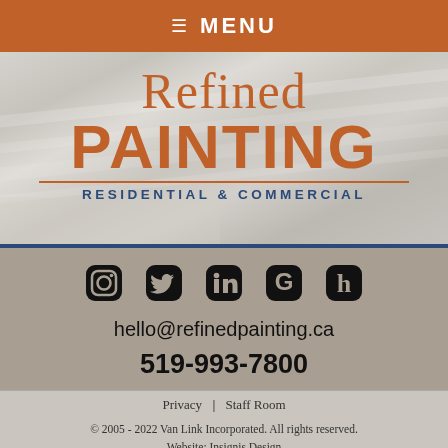≡ MENU
[Figure (logo): Refined Painting Residential & Commercial logo on blurred room background]
[Figure (infographic): Social media icons: Instagram, Twitter, LinkedIn, Google, Houzz]
hello@refinedpainting.ca
519-993-7800
Privacy | Staff Room
© 2005 - 2022 Van Link Incorporated. All rights reserved. Website: Insignis Design